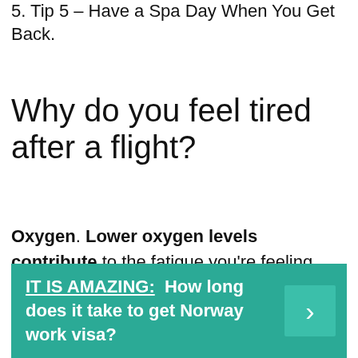5. Tip 5 – Have a Spa Day When You Get Back.
Why do you feel tired after a flight?
Oxygen. Lower oxygen levels contribute to the fatigue you're feeling. Because plane cabins are pressurized to simulate a 6,000-8,000 feet elevation, your blood absorbs less oxygen at those altitudes. This can cause dizziness, sleepiness, and a lack of mental sharpness.
IT IS AMAZING:  How long does it take to get Norway work visa?